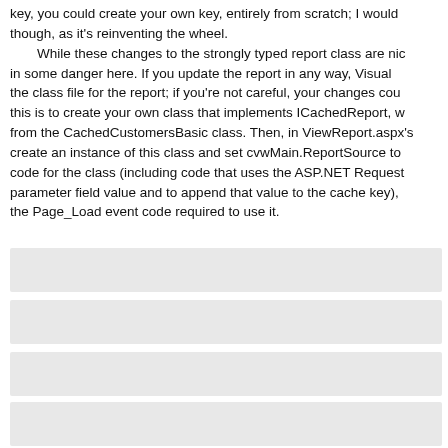key, you could create your own key, entirely from scratch; I would though, as it's reinventing the wheel.

While these changes to the strongly typed report class are nic in some danger here. If you update the report in any way, Visual the class file for the report; if you're not careful, your changes cou this is to create your own class that implements ICachedReport, v from the CachedCustomersBasic class. Then, in ViewReport.aspx's create an instance of this class and set cvwMain.ReportSource to code for the class (including code that uses the ASP.NET Request parameter field value and to append that value to the cache key), the Page_Load event code required to use it.
[Figure (screenshot): Gray code block placeholder box 1]
[Figure (screenshot): Gray code block placeholder box 2]
[Figure (screenshot): Gray code block placeholder box 3]
[Figure (screenshot): Gray code block placeholder box 4]
[Figure (screenshot): Gray code block placeholder box 5]